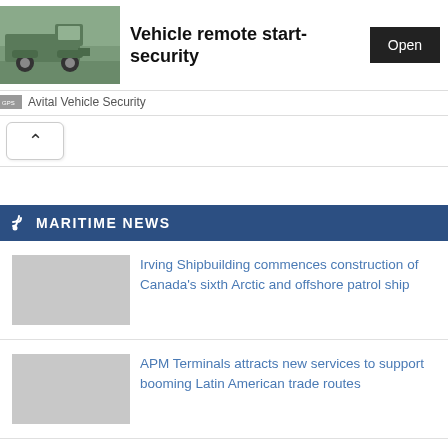[Figure (screenshot): Advertisement banner showing a vintage green truck with text 'Vehicle remote start-security' and an 'Open' button, sourced from Avital Vehicle Security]
Vehicle remote start-security
Open
Avital Vehicle Security
MARITIME NEWS
Irving Shipbuilding commences construction of Canada's sixth Arctic and offshore patrol ship
APM Terminals attracts new services to support booming Latin American trade routes